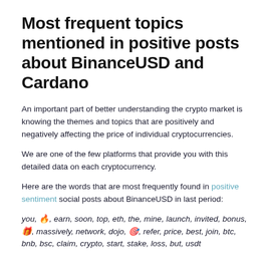Most frequent topics mentioned in positive posts about BinanceUSD and Cardano
An important part of better understanding the crypto market is knowing the themes and topics that are positively and negatively affecting the price of individual cryptocurrencies.
We are one of the few platforms that provide you with this detailed data on each cryptocurrency.
Here are the words that are most frequently found in positive sentiment social posts about BinanceUSD in last period:
you, 🔥, earn, soon, top, eth, the, mine, launch, invited, bonus, 🎁, massively, network, dojo, 🎯, refer, price, best, join, btc, bnb, bsc, claim, crypto, start, stake, loss, but, usdt